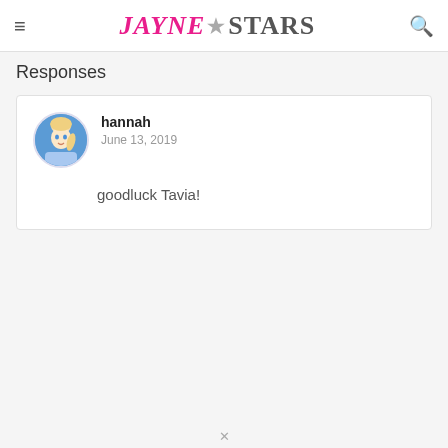JAYNE★STARS
Responses
hannah
June 13, 2019

goodluck Tavia!